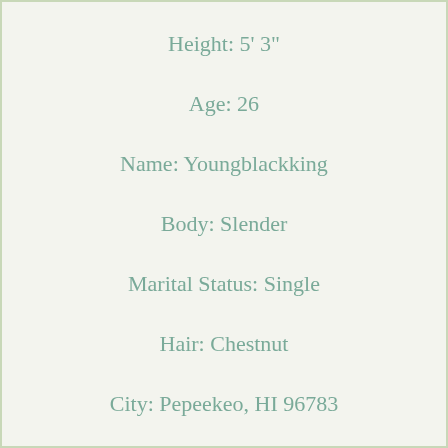Height: 5' 3"
Age: 26
Name: Youngblackking
Body: Slender
Marital Status: Single
Hair: Chestnut
City: Pepeekeo, HI 96783